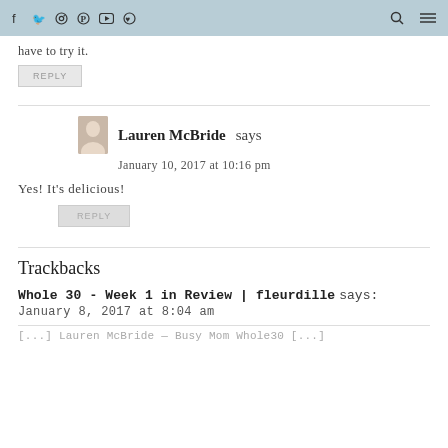nav bar with social icons, search, and menu
have to try it.
REPLY
Lauren McBride says
January 10, 2017 at 10:16 pm
Yes! It's delicious!
REPLY
Trackbacks
Whole 30 - Week 1 in Review | fleurdille says:
January 8, 2017 at 8:04 am
[...] Lauren McBride — Busy Mom Whole30 [...]